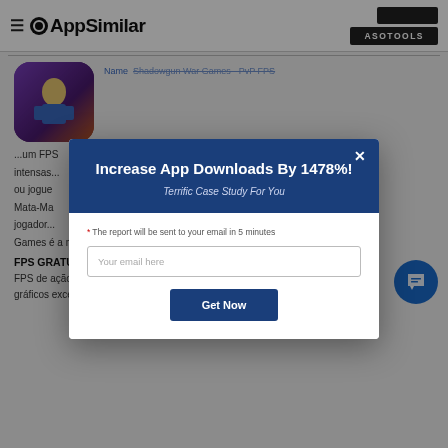AppSimilar | ASOTOOLS
Name  Shadowgun War Games - PvP FPS
um FPS...intensas...bandeira ou jogue Mata-Ma...vários jogadores Games é a melhor experiência de JcJ do mundo mobile!
FPS GRATUITO PARA JOGAR COM QUALIDADE DE CONSOLE
FPS de ação tático com qualidade de console no celular e com gráficos excelentes, controles
[Figure (screenshot): Modal popup dialog with dark blue header saying 'Increase App Downloads By 1478%!' and subtitle 'Terrific Case Study For You', with email input field and 'Get Now' button. Background shows AppSimilar website with app info for Shadowgun War Games.]